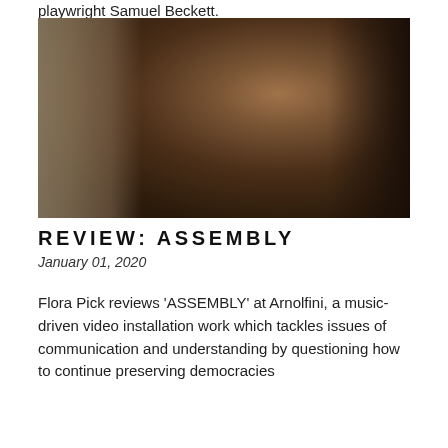playwright Samuel Beckett.
[Figure (photo): A woman in brown clothing seated and looking to the right with one hand raised near her forehead, photographed in a dimly lit room with curtains and furniture in the background.]
REVIEW: ASSEMBLY
January 01, 2020
Flora Pick reviews 'ASSEMBLY' at Arnolfini, a music-driven video installation work which tackles issues of communication and understanding by questioning how to continue preserving democracies